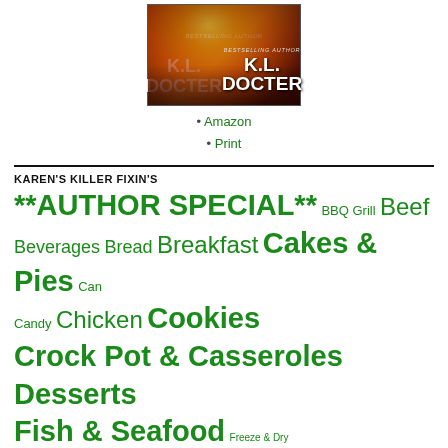[Figure (illustration): Book cover image featuring a fire/flames background with text 'K.L. DOCTER' in large bold white letters and a smaller label above reading 'BESTSELLING AUTHOR']
Amazon
Print
KAREN'S KILLER FIXIN'S
**AUTHOR SPECIAL** BBQ Grill Beef Beverages Bread Breakfast Cakes & Pies Can Candy Chicken Cookies Crock Pot & Casseroles Desserts Fish & Seafood Freeze & Dry H'ordeuves & Specialty Dips Ham Healthy Fit Instant Pot Italian Karen's Kitchen Lamb Mexican